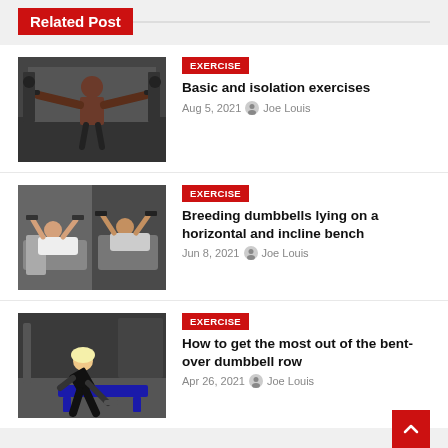Related Post
[Figure (photo): Muscular man doing lateral raises with barbells in a gym]
EXERCISE
Basic and isolation exercises
Aug 5, 2021  Joe Louis
[Figure (photo): Person lying on bench doing dumbbell chest fly exercise]
EXERCISE
Breeding dumbbells lying on a horizontal and incline bench
Jun 8, 2021  Joe Louis
[Figure (photo): Fit woman doing bent-over dumbbell row exercise in gym]
EXERCISE
How to get the most out of the bent-over dumbbell row
Apr 26, 2021  Joe Louis